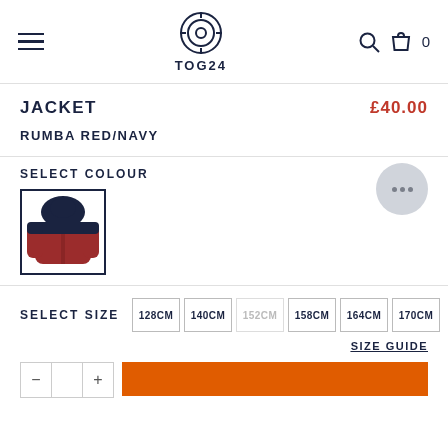TOG24 navigation header with logo, search, and cart
JACKET
£40.00
RUMBA RED/NAVY
SELECT COLOUR
[Figure (photo): Red and navy puffer jacket thumbnail with dark navy hood area]
SELECT SIZE
128CM
140CM
152CM
158CM
164CM
170CM
SIZE GUIDE